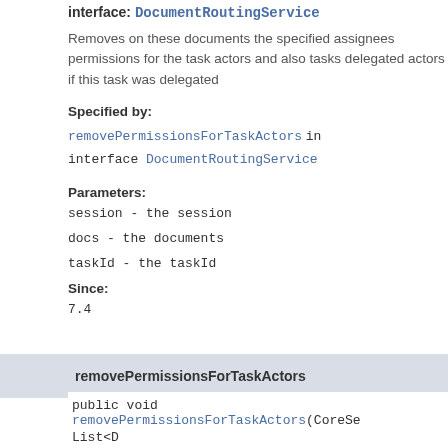interface: DocumentRoutingService
Removes on these documents the specified assignees permissions for the task actors and also tasks delegated actors if this task was delegated
Specified by:
removePermissionsForTaskActors in interface DocumentRoutingService
Parameters:
session - the session
docs - the documents
taskId - the taskId
Since:
7.4
removePermissionsForTaskActors
public void removePermissionsForTaskActors(CoreSe List<D